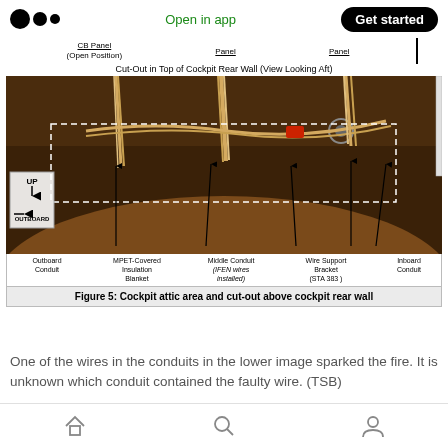Open in app  |  Get started
CB Panel (Open Position)   Panel   Panel
Cut-Out in Top of Cockpit Rear Wall (View Looking Aft)
[Figure (photo): Photograph of cockpit attic area showing conduits and wiring inside the cut-out above the cockpit rear wall. Labels indicate: Outboard Conduit, MPET-Covered Insulation Blanket, Middle Conduit (IFEN wires installed), Wire Support Bracket (STA 383), Inboard Conduit. A compass indicator shows UP and OUTBOARD directions. A dashed rectangle highlights the cut-out region.]
Figure 5: Cockpit attic area and cut-out above cockpit rear wall
One of the wires in the conduits in the lower image sparked the fire. It is unknown which conduit contained the faulty wire. (TSB)